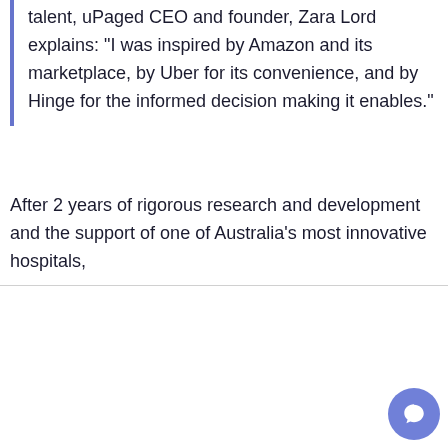talent, uPaged CEO and founder, Zara Lord explains: “I was inspired by Amazon and its marketplace, by Uber for its convenience, and by Hinge for the informed decision making it enables.”
After 2 years of rigorous research and development and the support of one of Australia’s most innovative hospitals,
By visiting uPaged, you agree to our use of cookies. Cookies are great. We use them to make sure you have a great experience & help this site run effectively.
Cookie Settings
Accept All